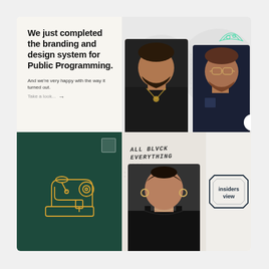We just completed the branding and design system for Public Programming.
And we're very happy with the way it turned out.
Take a look...
[Figure (photo): Two people standing: man with beard in black t-shirt on left, man with beard and glasses in dark polo on right, against light background with sketch illustrations of glasses and taco]
[Figure (illustration): Dark teal card with golden sewing machine illustration and a small document icon in top right corner]
[Figure (photo): Woman in black top with handwritten text 'All Black Everything' in the background on light beige]
[Figure (logo): Insiders View logo - text in box with geometric border lines on light background]